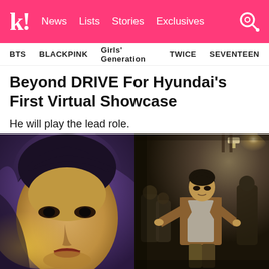k! News Lists Stories Exclusives
BTS  BLACKPINK  Girls' Generation  TWICE  SEVENTEEN
Beyond DRIVE For Hyundai's First Virtual Showcase
He will play the lead role.
[Figure (photo): Two side-by-side images: left shows a close-up artistic shot of a person's face with dramatic purple and yellow lighting; right shows a man in a brown blazer and grey t-shirt running through a crowd in a dark venue.]